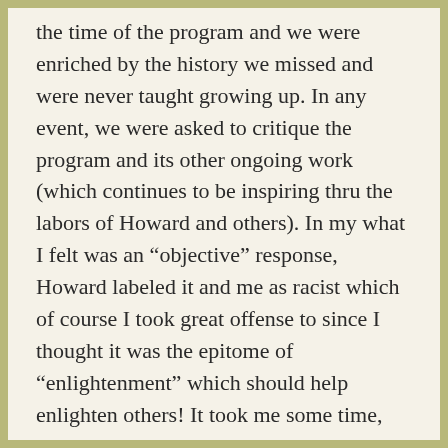the time of the program and we were enriched by the history we missed and were never taught growing up. In any event, we were asked to critique the program and its other ongoing work (which continues to be inspiring thru the labors of Howard and others). In my what I felt was an “objective” response, Howard labeled it and me as racist which of course I took great offense to since I thought it was the epitome of “enlightenment” which should help enlighten others! It took me some time, even up to now and no doubt ongoing, to realize that perhaps my white fragility was exposed and no doubt still thrives in other ways. Bottomline: this is ongoing work and and your blog consistently challenges me and your many readers to never think you’re there and beyond the insidiousness nature of racism in our world. Hopefully by our struggles and related actions